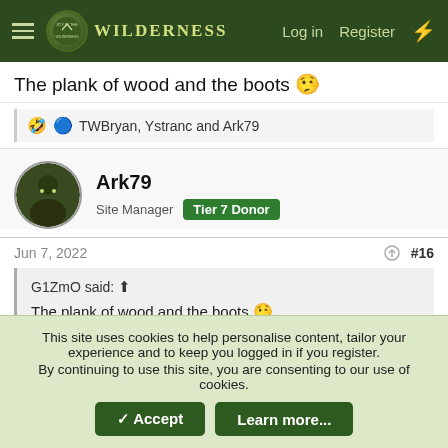WILDERNESS — Log in  Register
The plank of wood and the boots 🤥
🤣🔵 TWBryan, Ystranc and Ark79
Ark79
Site Manager  Tier 7 Donor
Jun 7, 2022  #16
G1ZmO said: ↑
The plank of wood and the boots 🤥
This site uses cookies to help personalise content, tailor your experience and to keep you logged in if you register.
By continuing to use this site, you are consenting to our use of cookies.
✓ Accept   Learn more...